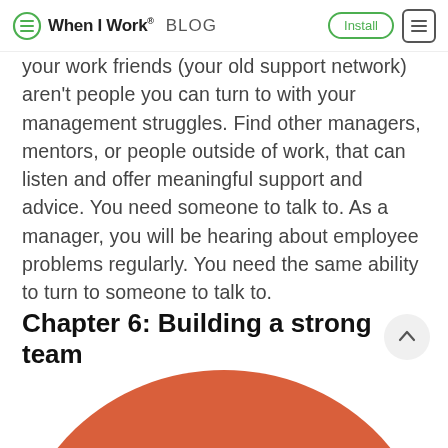When I Work BLOG
your work friends (your old support network) aren't people you can turn to with your management struggles. Find other managers, mentors, or people outside of work, that can listen and offer meaningful support and advice. You need someone to talk to. As a manager, you will be hearing about employee problems regularly. You need the same ability to turn to someone to talk to.
Chapter 6: Building a strong team
[Figure (illustration): Red circle/dome shape visible at the bottom of the page, partially cropped]